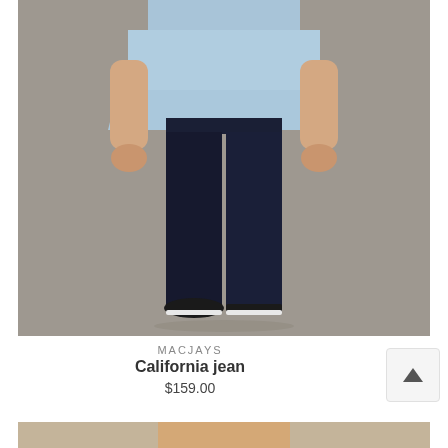[Figure (photo): Fashion product photo of a person wearing dark navy slim-fit jeans with a light blue chambray shirt and black slip-on sneakers, standing against a grey background. Only the torso and legs are visible.]
MACJAYS
California jean
$159.00
[Figure (photo): Partial view of a second product photo at the bottom of the page, showing only the top portion.]